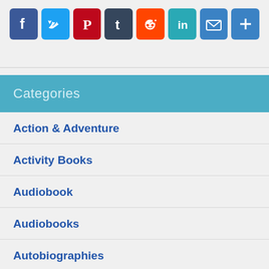[Figure (other): Social media sharing icons: Facebook (blue), Twitter (light blue), Pinterest (red), Tumblr (dark grey), Reddit (orange), LinkedIn (teal), Email (blue), Share/Plus (blue)]
Categories
Action & Adventure
Activity Books
Audiobook
Audiobooks
Autobiographies
Bargain Books Under $3
Biblical Studies